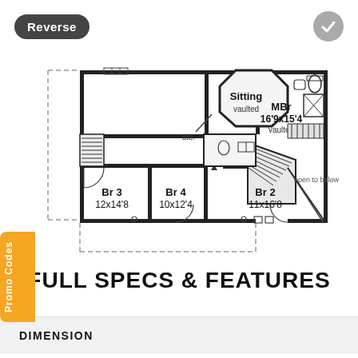[Figure (other): Second floor architectural plan showing rooms: Sitting (vaulted), MBr 16'9x15'4 (vaulted), Br 2 11x16'8, Br 3 12x14'8, Br 4 10x12'4, with staircase and open to below area]
Reverse
Promo Codes
FULL SPECS & FEATURES
DIMENSION